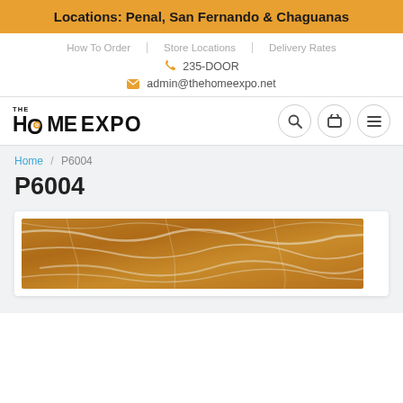Locations: Penal, San Fernando & Chaguanas
How To Order | Store Locations | Delivery Rates
235-DOOR
admin@thehomeexpo.net
[Figure (logo): The Home Expo logo with stylized text and orange dot in O]
Home / P6004
P6004
[Figure (photo): Close-up of brown/amber marble tile with white veining pattern, product P6004]